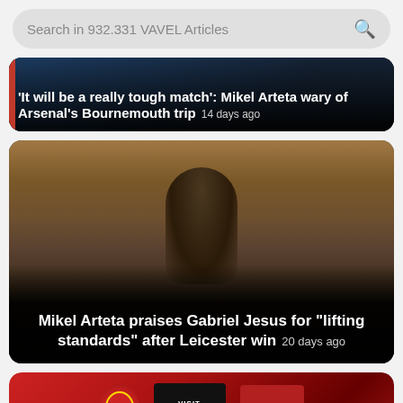Search in 932.331 VAVEL Articles
[Figure (screenshot): News article card with dark background showing headline: 'It will be a really tough match': Mikel Arteta wary of Arsenal's Bournemouth trip – 14 days ago]
[Figure (photo): Photo of Mikel Arteta in black shirt gesturing on touchline with crowd behind. Headline: Mikel Arteta praises Gabriel Jesus for "lifting standards" after Leicester win – 20 days ago]
[Figure (photo): Partial view of Arsenal press conference backdrop with Arsenal badge, Visit Rwanda, and Emirates sponsor logos visible]